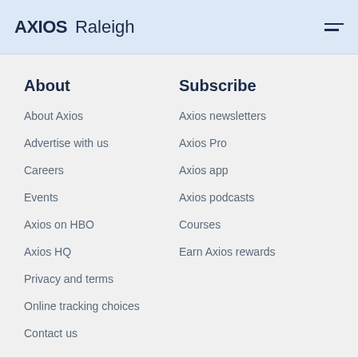AXIOS Raleigh
About
About Axios
Advertise with us
Careers
Events
Axios on HBO
Axios HQ
Privacy and terms
Online tracking choices
Contact us
Subscribe
Axios newsletters
Axios Pro
Axios app
Axios podcasts
Courses
Earn Axios rewards